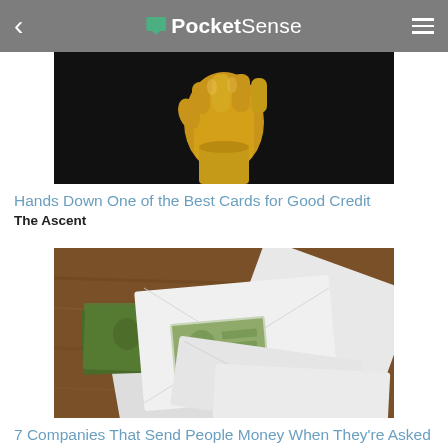PocketSense
[Figure (photo): Gold metallic fist sculpture against dark background]
Hands Down One of the Best Cards for Good Credit
The Ascent
[Figure (photo): White envelopes with $100 bills on wooden table]
7 Companies That Send People Money When They're Asked Nicely
The Penny Hoarder